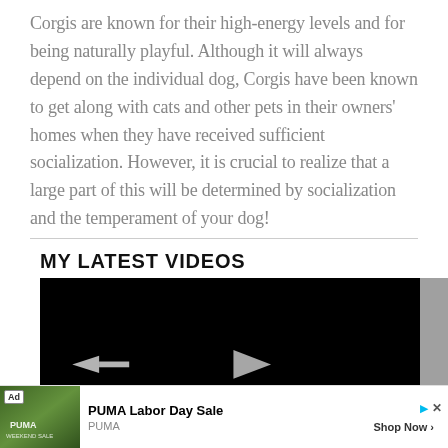Corgis are known for their high-energy levels and for being naturally playful. Although it will always depend on the individual dog, Corgis have been known to get along with cats and other pets in their owners' homes when they have received sufficient socialization. However, it is crucial to realize that a large part of this will be determined by socialization and the temperament of your dog!
MY LATEST VIDEOS
[Figure (screenshot): Black video player with back arrow and play button controls]
[Figure (screenshot): PUMA Labor Day Sale advertisement banner with jungle background image, Ad label, brand name, Shop Now button]